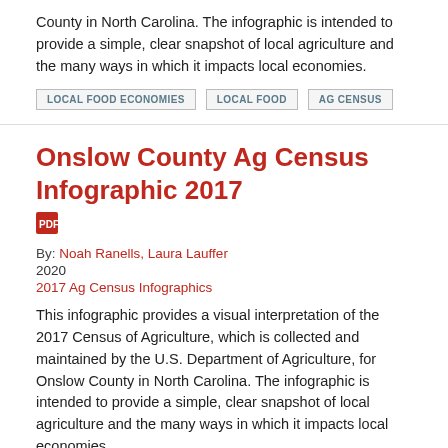County in North Carolina. The infographic is intended to provide a simple, clear snapshot of local agriculture and the many ways in which it impacts local economies.
LOCAL FOOD ECONOMIES
LOCAL FOOD
AG CENSUS
Onslow County Ag Census Infographic 2017
By: Noah Ranells, Laura Lauffer
2020
2017 Ag Census Infographics
This infographic provides a visual interpretation of the 2017 Census of Agriculture, which is collected and maintained by the U.S. Department of Agriculture, for Onslow County in North Carolina. The infographic is intended to provide a simple, clear snapshot of local agriculture and the many ways in which it impacts local economies.
LOCAL FOOD ECONOMIES
LOCAL FOOD
AG CENSUS